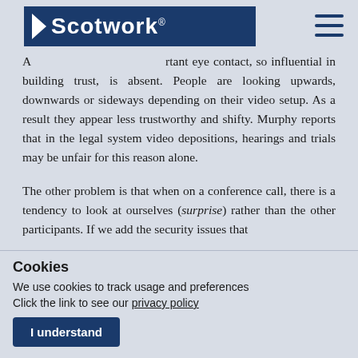Scotwork
A... rtant eye contact, so influential in building trust, is absent. People are looking upwards, downwards or sideways depending on their video setup. As a result they appear less trustworthy and shifty. Murphy reports that in the legal system video depositions, hearings and trials may be unfair for this reason alone.
The other problem is that when on a conference call, there is a tendency to look at ourselves (surprise) rather than the other participants. If we add the security issues that...
Cookies
We use cookies to track usage and preferences
Click the link to see our privacy policy
I understand